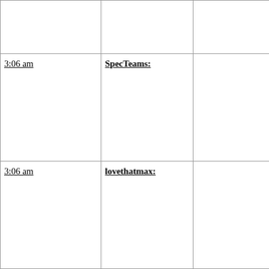| Time | Username | Content |
| --- | --- | --- |
|  |  |  |
| 3:06 am | SpecTeams: |  |
| 3:06 am | lovethatmax: |  |